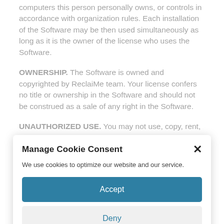computers this person personally owns, or controls in accordance with organization rules. Each installation of the Software may be then used simultaneously as long as it is the owner of the license who uses the Software.
OWNERSHIP. The Software is owned and copyrighted by ReclaiMe team. Your license confers no title or ownership in the Software and should not be construed as a sale of any right in the Software.
UNAUTHORIZED USE. You may not use, copy, rent, lease,
Manage Cookie Consent
We use cookies to optimize our website and our service.
Accept
Deny